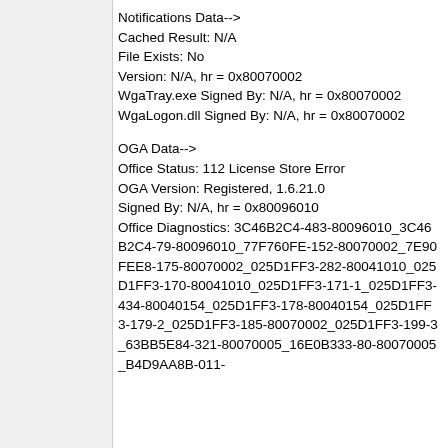Notifications Data-->
Cached Result: N/A
File Exists: No
Version: N/A, hr = 0x80070002
WgaTray.exe Signed By: N/A, hr = 0x80070002
WgaLogon.dll Signed By: N/A, hr = 0x80070002
OGA Data-->
Office Status: 112 License Store Error
OGA Version: Registered, 1.6.21.0
Signed By: N/A, hr = 0x80096010
Office Diagnostics: 3C46B2C4-483-80096010_3C46B2C4-79-80096010_77F760FE-152-80070002_7E90FEE8-175-80070002_025D1FF3-282-80041010_025D1FF3-170-80041010_025D1FF3-171-1_025D1FF3-434-80040154_025D1FF3-178-80040154_025D1FF3-179-2_025D1FF3-185-80070002_025D1FF3-199-3_63BB5E84-321-80070005_16E0B333-80-80070005_B4D9AA8B-011-